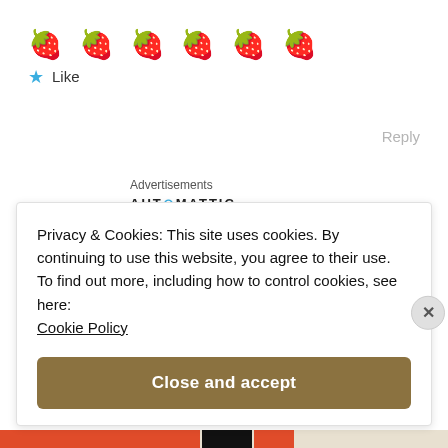[Figure (illustration): Six strawberry emojis in a row]
Like
Reply
Advertisements
AUTOMATTIC
Build a better web and a better world.
Privacy & Cookies: This site uses cookies. By continuing to use this website, you agree to their use.
To find out more, including how to control cookies, see here: Cookie Policy
Close and accept